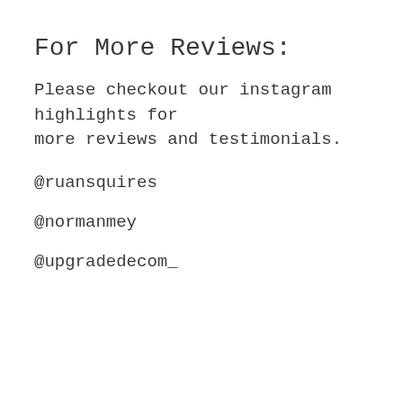For More Reviews:
Please checkout our instagram highlights for more reviews and testimonials.
@ruansquires
@normanmey
@upgradedecom_